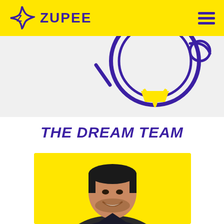ZUPEE
[Figure (illustration): Partial illustration of a light bulb with purple outlines and yellow fill on a light gray background]
THE DREAM TEAM
[Figure (photo): Photo of a young man with dark hair smiling, wearing a dark shirt, on a yellow background]